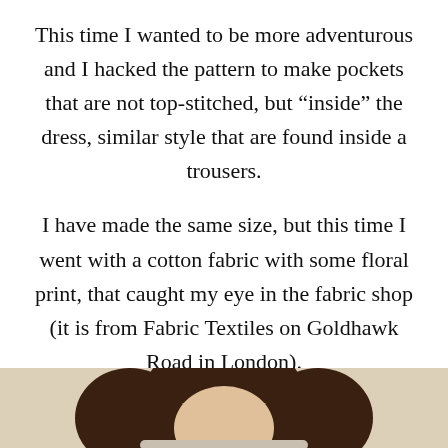This time I wanted to be more adventurous and I hacked the pattern to make pockets that are not top-stitched, but “inside” the dress, similar style that are found inside a trousers.
I have made the same size, but this time I went with a cotton fabric with some floral print, that caught my eye in the fabric shop (it is from Fabric Textiles on Goldhawk Road in London).
[Figure (photo): Partial photo showing the top of a person's head with brown hair against a light beige/cream background, cropped at the bottom of the page.]